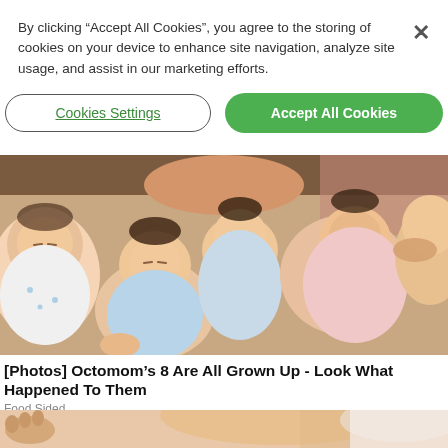By clicking “Accept All Cookies”, you agree to the storing of cookies on your device to enhance site navigation, analyze site usage, and assist in our marketing efforts.
Cookies Settings
Accept All Cookies
[Figure (photo): Multiple sleeping newborn babies bundled together on an adult, photographed from above]
[Photos] Octomom’s 8 Are All Grown Up - Look What Happened To Them
Food Sided
[Figure (photo): Partial view of a person’s torso/abdomen, cropped at bottom of page]